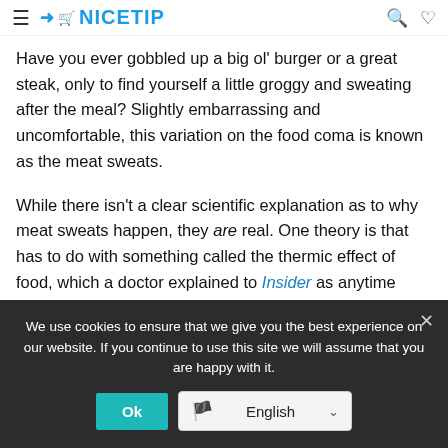≡ ↠ 🛒 NICETIP 🔍 ♡
Have you ever gobbled up a big ol' burger or a great steak, only to find yourself a little groggy and sweating after the meal? Slightly embarrassing and uncomfortable, this variation on the food coma is known as the meat sweats.
While there isn't a clear scientific explanation as to why meat sweats happen, they are real. One theory is that has to do with something called the thermic effect of food, which a doctor explained to Insider as anytime your body digests something you eat, it
We use cookies to ensure that we give you the best experience on our website. If you continue to use this site we will assume that you are happy with it. Ok English